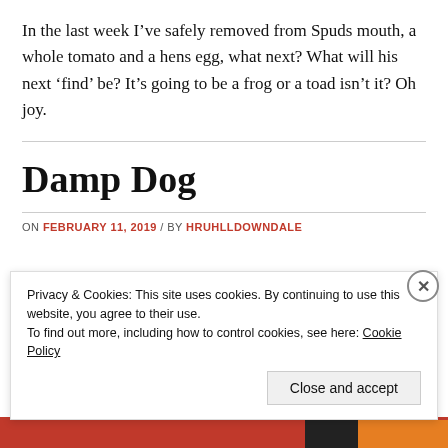In the last week I’ve safely removed from Spuds mouth, a whole tomato and a hens egg, what next? What will his next ‘find’ be? It’s going to be a frog or a toad isn’t it? Oh joy.
Damp Dog
ON FEBRUARY 11, 2019 / BY HRUHLLDOWNDALE
Privacy & Cookies: This site uses cookies. By continuing to use this website, you agree to their use.
To find out more, including how to control cookies, see here: Cookie Policy
Close and accept